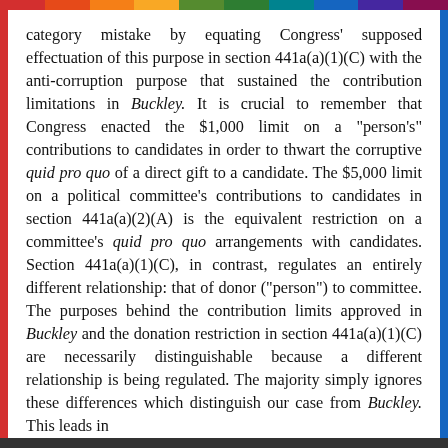category mistake by equating Congress' supposed effectuation of this purpose in section 441a(a)(1)(C) with the anti-corruption purpose that sustained the contribution limitations in Buckley. It is crucial to remember that Congress enacted the $1,000 limit on a "person's" contributions to candidates in order to thwart the corruptive quid pro quo of a direct gift to a candidate. The $5,000 limit on a political committee's contributions to candidates in section 441a(a)(2)(A) is the equivalent restriction on a committee's quid pro quo arrangements with candidates. Section 441a(a)(1)(C), in contrast, regulates an entirely different relationship: that of donor ("person") to committee. The purposes behind the contribution limits approved in Buckley and the donation restriction in section 441a(a)(1)(C) are necessarily distinguishable because a different relationship is being regulated. The majority simply ignores these differences which distinguish our case from Buckley. This leads in